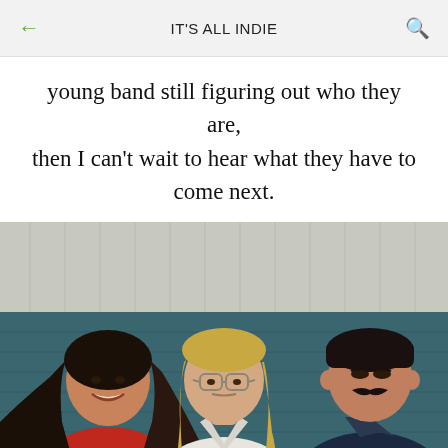IT'S ALL INDIE
young band still figuring out who they are, then I can't wait to hear what they have to come next.
[Figure (photo): Three young people standing in front of a teal/blue wooden wall and a light grey wooden wall above. On the left is a woman with dark hair wearing a red t-shirt, smiling. In the center is a person with long blonde hair and glasses wearing a white shirt. On the right is a man with dark short hair and a mustache wearing a dark navy polo shirt.]